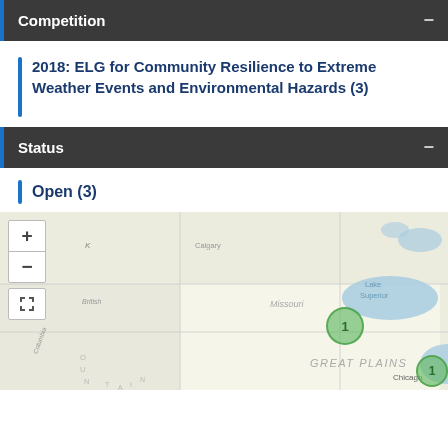Competition
2018: ELG for Community Resilience to Extreme Weather Events and Environmental Hazards (3)
Status
Open (3)
[Figure (map): Interactive map of North America showing competition entries clustered by location. Two green cluster markers visible: one near the Great Lakes region labeled '1', and one near Chicago labeled '1'. Map shows geographic features including Calgary, Missouri, Mississippi, Lake Superior, Great Plains, and Chicago. Map controls include zoom in (+), zoom out (-), and expand buttons.]